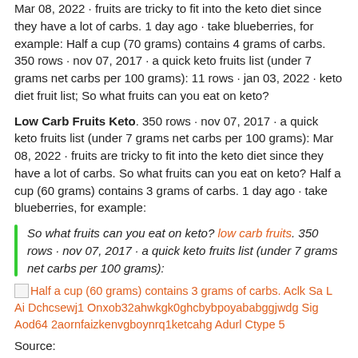Mar 08, 2022 · fruits are tricky to fit into the keto diet since they have a lot of carbs. 1 day ago · take blueberries, for example: Half a cup (70 grams) contains 4 grams of carbs. 350 rows · nov 07, 2017 · a quick keto fruits list (under 7 grams net carbs per 100 grams): 11 rows · jan 03, 2022 · keto diet fruit list; So what fruits can you eat on keto?
Low Carb Fruits Keto. 350 rows · nov 07, 2017 · a quick keto fruits list (under 7 grams net carbs per 100 grams): Mar 08, 2022 · fruits are tricky to fit into the keto diet since they have a lot of carbs. So what fruits can you eat on keto? Half a cup (60 grams) contains 3 grams of carbs. 1 day ago · take blueberries, for example:
So what fruits can you eat on keto? low carb fruits. 350 rows · nov 07, 2017 · a quick keto fruits list (under 7 grams net carbs per 100 grams):
[Figure (other): Broken image icon followed by orange link text: Half a cup (60 grams) contains 3 grams of carbs. Aclk Sa L Ai Dchcsewj1 Onxob32ahwkgk0ghcbybpoyababggjwdg Sig Aod64 2aornfaizkenvgboynrq1ketcahg Adurl Ctype 5]
Source:
One cup contains about 18 grams of net carbs (that's total carbs minus fiber), which accounts for pretty much an entire day's worth of carbs on the keto diet since. Mar 08, 2022 · fruits are tricky to fit into